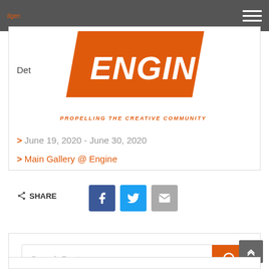Engine — Propelling the Creative Community
[Figure (logo): Engine logo — orange parallelogram shape with white italic text ENGINE, tagline PROPELLING THE CREATIVE COMMUNITY in orange italic below]
Det
> June 19, 2020 - June 30, 2020
> Main Gallery @ Engine
< SHARE
[Figure (other): Social share buttons: Facebook (blue), Twitter (light blue), Email (grey)]
[Figure (other): Search bar with placeholder text 'Search Posts...' and orange search button with magnifying glass icon]
[Figure (other): Grey back-to-top button with upward chevron arrows]